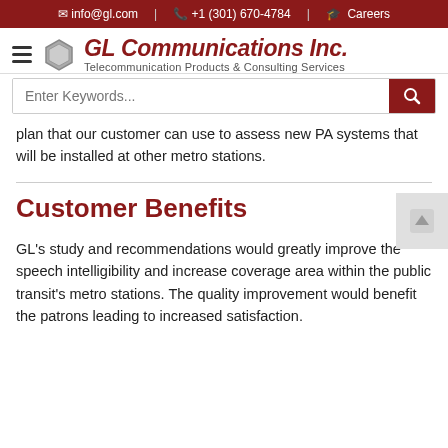info@gl.com  |  +1 (301) 670-4784  |  Careers
[Figure (logo): GL Communications Inc. logo with hexagon icon and tagline 'Telecommunication Products & Consulting Services']
plan that our customer can use to assess new PA systems that will be installed at other metro stations.
Customer Benefits
GL's study and recommendations would greatly improve the speech intelligibility and increase coverage area within the public transit's metro stations. The quality improvement would benefit the patrons leading to increased satisfaction.